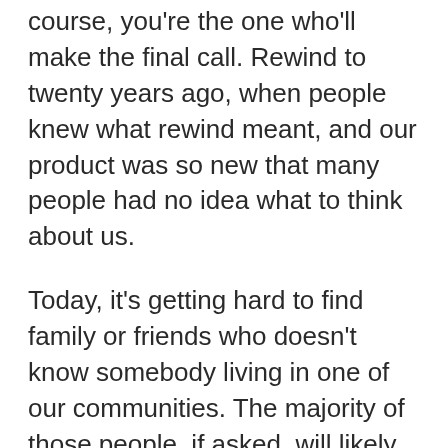course, you're the one who'll make the final call. Rewind to twenty years ago, when people knew what rewind meant, and our product was so new that many people had no idea what to think about us.
Today, it's getting hard to find family or friends who doesn't know somebody living in one of our communities. The majority of those people, if asked, will likely tell you what a great decision it was moving there.
55+ communities aren't for elitists. They are for active adults who like building close friendships with other fun adults. They like to spend their time more efficiently so that they have more